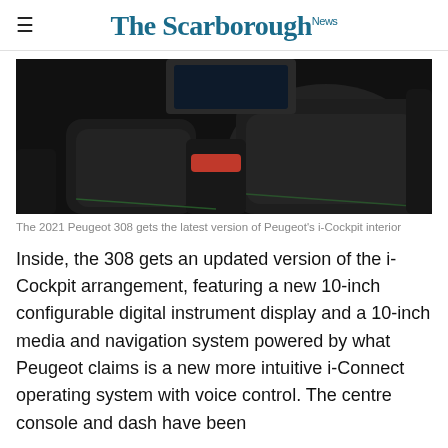The Scarborough News
[Figure (photo): Dark interior shot of the 2021 Peugeot 308 showing black leather seats and cabin]
The 2021 Peugeot 308 gets the latest version of Peugeot's i-Cockpit interior
Inside, the 308 gets an updated version of the i-Cockpit arrangement, featuring a new 10-inch configurable digital instrument display and a 10-inch media and navigation system powered by what Peugeot claims is a new more intuitive i-Connect operating system with voice control. The centre console and dash have been